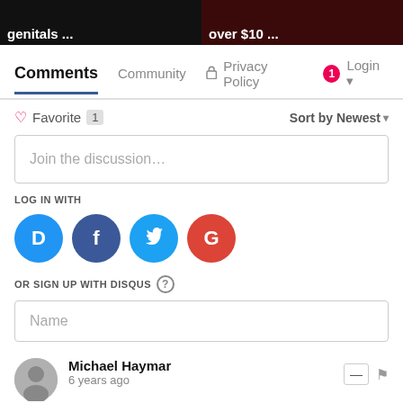[Figure (screenshot): Two dark thumbnail images side by side. Left shows text 'genitals ...' on black background. Right shows text 'over $10 ...' on dark red background.]
Comments  Community  Privacy Policy  1  Login
Favorite 1    Sort by Newest
Join the discussion...
LOG IN WITH
[Figure (infographic): Four social login circles: D (Disqus, blue), f (Facebook, dark blue), bird (Twitter, light blue), G (Google, red)]
OR SIGN UP WITH DISQUS ?
Name
Michael Haymar
6 years ago
For the majority of obese people losing weight is easy. You just need to change the type of food that you eat. Eat more of the